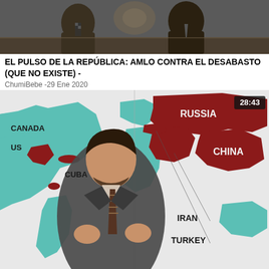[Figure (screenshot): Top thumbnail showing two people seated at a desk with a Mexican eagle emblem in the background, dark/grey tones.]
EL PULSO DE LA REPÚBLICA: AMLO CONTRA EL DESABASTO (QUE NO EXISTE) -
ChumiBebe -29 Ene 2020
[Figure (screenshot): Video thumbnail showing a male TV presenter in a suit gesturing with hands, standing in front of a world map with countries highlighted in teal and dark red. Country labels visible: CANADA, US, CUBA, RUSSIA, CHINA, IRAN, TURKEY. Duration badge shows 28:43.]